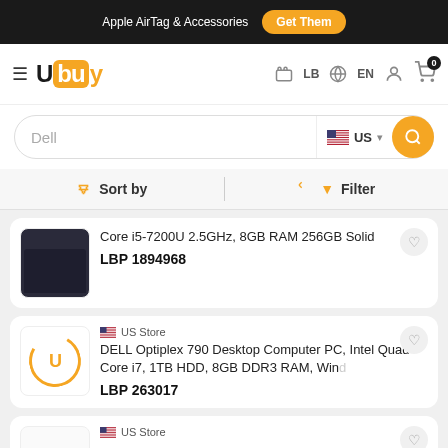Apple AirTag & Accessories  Get Them
Ubuy  LB  EN  [user icon]  [cart 0]
Dell  US [search]
Sort by  |  Filter
Core i5-7200U 2.5GHz, 8GB RAM 256GB Solid
LBP 1894968
US Store
DELL Optiplex 790 Desktop Computer PC, Intel Quad-Core i7, 1TB HDD, 8GB DDR3 RAM, Wind...
LBP 263017
US Store